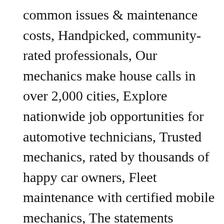common issues & maintenance costs, Handpicked, community-rated professionals, Our mechanics make house calls in over 2,000 cities, Explore nationwide job opportunities for automotive technicians, Trusted mechanics, rated by thousands of happy car owners, Fleet maintenance with certified mobile mechanics, The statements expressed above are only for informational purposes and should be independently verified. Dynamic unbalance in overhung rotors causes high 1X levels in radial and axial direction due to bending of the shaft. Our certified mobile mechanics make house calls in over 2,000 U.S. cities. Faults can be classified as: Positive fault – sustained fault Early Finding (Early Diagnosis) ...